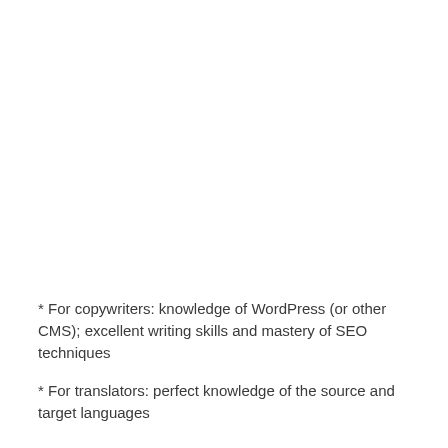* For copywriters: knowledge of WordPress (or other CMS); excellent writing skills and mastery of SEO techniques
* For translators: perfect knowledge of the source and target languages